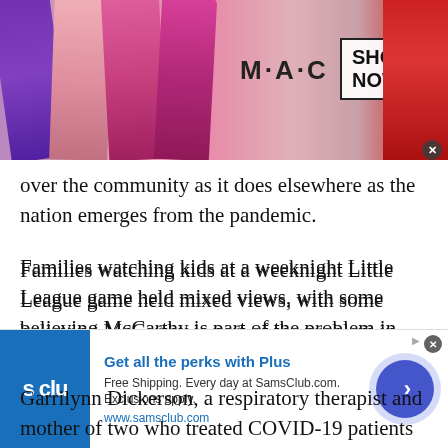[Figure (photo): MAC Cosmetics advertisement banner showing colorful lipstick tubes on left side (purple, pink, magenta, red), MAC wordmark in center, SHOP NOW box on right, and a red lipstick on far right]
over the community as it does elsewhere as the nation emerges from the pandemic.
Families watching kids at a weeknight Little League game held mixed views, with some believing McCarthy is part of the problem in Washington and others seeing him as a potential solution.
Garrilynn Dickerson, a respiratory therapist and mother of two who treated COVID-19 patients at a local hospital, said she just wants Republicans and
[Figure (photo): Sam's Club advertisement banner: blue square with 's clu' text on left, 'Get all the perks with Plus' headline in blue, 'Free Shipping. Every day at SamsClub.com. Exclusions apply.' body text, 'www.samsclub.com' URL, and a blue circular arrow button on right]